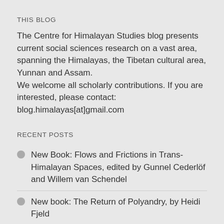THIS BLOG
The Centre for Himalayan Studies blog presents current social sciences research on a vast area, spanning the Himalayas, the Tibetan cultural area, Yunnan and Assam.
We welcome all scholarly contributions. If you are interested, please contact:
blog.himalayas[at]gmail.com
RECENT POSTS
New Book: Flows and Frictions in Trans-Himalayan Spaces, edited by Gunnel Cederlöf and Willem van Schendel
New book: The Return of Polyandry, by Heidi Fjeld
European Bulletin of Himalayan Research: New issue